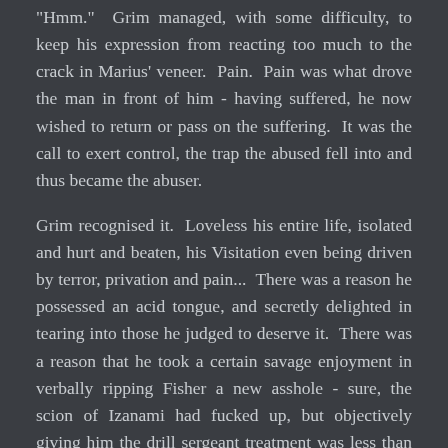"Hmm." Grim managed, with some difficulty, to keep his expression from reacting too much to the crack in Marius' veneer. Pain. Pain was what drove the man in front of him - having suffered, he now wished to return or pass on the suffering. It was the call to exert control, the trap the abused fell into and thus became the abuser.
Grim recognised it. Loveless his entire life, isolated and hurt and beaten, his Visitation even being driven by terror, privation and pain... There was a reason he possessed an acid tongue, and secretly delighted in tearing into those he judged to deserve it. There was a reason that he took a certain savage enjoyment in verbally ripping Fisher a new asshole - sure, the scion of Izanami had fucked up, but objectively giving him the drill sergeant treatment was less than helpful. There was a reason he had take satisfaction in pushing Dane's buttons, turning the amiable surfer bro into a growling, angry, and sullen man, stealing his smile if only for few minutes. He enjoyed making people uncomfortable, in passing on his pain. Grimsley Algar - Elliðagrimmr Odinsson - recognised in Marius... himself. Older, more bitter, more enraged. He could only guess at the amalgamation of pain and hurt that had formed the clay of the